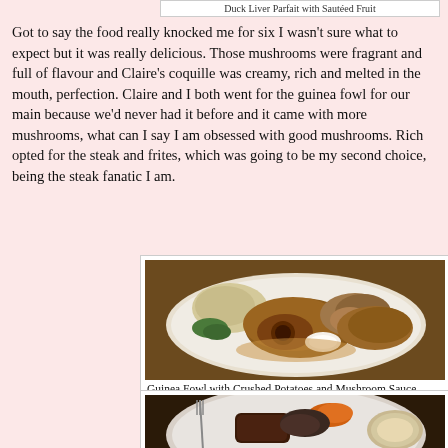Duck Liver Parfait with Sautéed Fruit
Got to say the food really knocked me for six I wasn't sure what to expect but it was really delicious. Those mushrooms were fragrant and full of flavour and Claire's coquille was creamy, rich and melted in the mouth, perfection. Claire and I both went for the guinea fowl for our main because we'd never had it before and it came with more mushrooms, what can I say I am obsessed with good mushrooms. Rich opted for the steak and frites, which was going to be my second choice, being the steak fanatic I am.
[Figure (photo): A plate of Guinea Fowl with Crushed Potatoes and Mushroom Sauce — roasted guinea fowl pieces with mushrooms, crushed potatoes, and a cream sauce on a white plate]
Guinea Fowl with Crushed Potatoes and Mushroom Sauce
[Figure (photo): A plate of steak with accompaniments including roasted carrots and salad leaves on a white plate, partially visible]